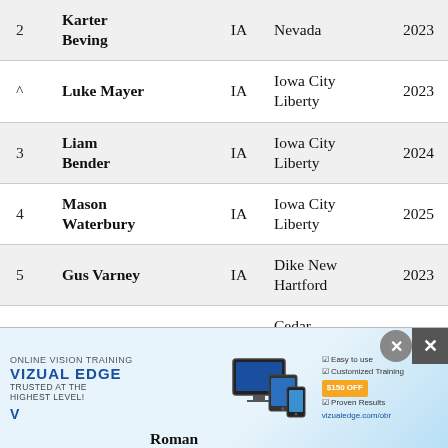| Rank | Name | State | School | Year |
| --- | --- | --- | --- | --- |
| 2 | Karter Beving | IA | Nevada | 2023 |
| ^ | Luke Mayer | IA | Iowa City Liberty | 2023 |
| 3 | Liam Bender | IA | Iowa City Liberty | 2024 |
| 4 | Mason Waterbury | IA | Iowa City Liberty | 2025 |
| 5 | Gus Varney | IA | Dike New Hartford | 2023 |
| 6 | Logan Miller | IA | Cedar Rapids Kennedy | 2025 |
| ^ | Cael Roman | IA | Nevada | 2022 |
[Figure (advertisement): Vizual Edge online vision training advertisement with device mockup, $150 off coupon, and vizualedge.com/obr URL]